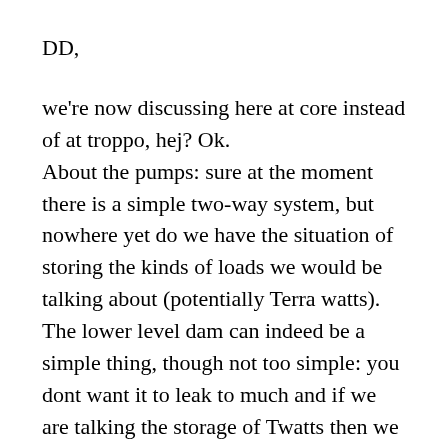DD,
we're now discussing here at core instead of at troppo, hej? Ok.
About the pumps: sure at the moment there is a simple two-way system, but nowhere yet do we have the situation of storing the kinds of loads we would be talking about (potentially Terra watts). The lower level dam can indeed be a simple thing, though not too simple: you dont want it to leak to much and if we are talking the storage of Twatts then we are talking about sizeable lakes for which you dont just have a crude earthen wall.
As to peak shaving, it is indeed clearly the case